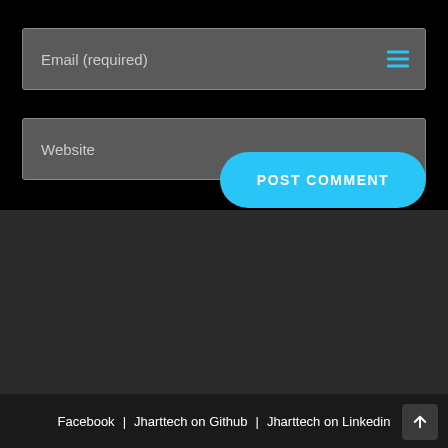[Figure (screenshot): Email input field with placeholder text 'Email (required)' and hamburger/menu icon on right, dark gray background]
[Figure (screenshot): Website input field with placeholder text 'Website', dark gray background]
[Figure (screenshot): Blue rounded 'POST COMMENT' button on black background]
Facebook | Jharttech on Github | Jharttech on Linkedin